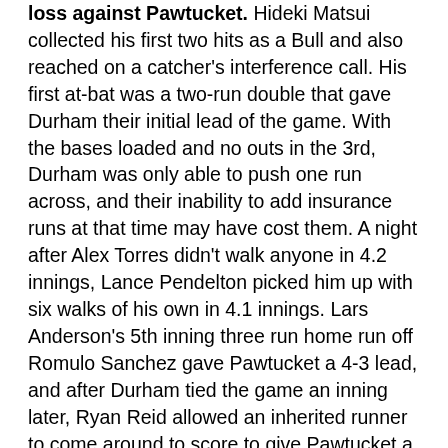loss against Pawtucket. Hideki Matsui collected his first two hits as a Bull and also reached on a catcher's interference call. His first at-bat was a two-run double that gave Durham their initial lead of the game. With the bases loaded and no outs in the 3rd, Durham was only able to push one run across, and their inability to add insurance runs at that time may have cost them. A night after Alex Torres didn't walk anyone in 4.2 innings, Lance Pendelton picked him up with six walks of his own in 4.1 innings. Lars Anderson's 5th inning three run home run off Romulo Sanchez gave Pawtucket a 4-3 lead, and after Durham tied the game an inning later, Ryan Reid allowed an inherited runner to come around to score to give Pawtucket a 5-4 lead. The rehabbing Kevin Youkilis DH'd for Pawtucket and went 1/2 with a double, run scored and walk.
At Montgomery: Results (20-21)